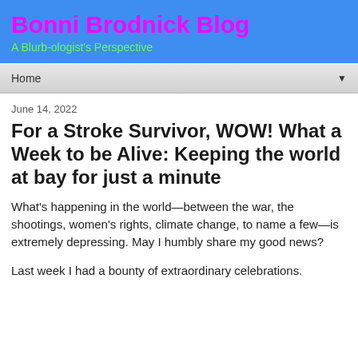Bonni Brodnick Blog
A Blurb-ologist's Perspective
Home
June 14, 2022
For a Stroke Survivor, WOW! What a Week to be Alive: Keeping the world at bay for just a minute
What's happening in the world—between the war, the shootings, women's rights, climate change, to name a few—is extremely depressing. May I humbly share my good news?
Last week I had a bounty of extraordinary celebrations.